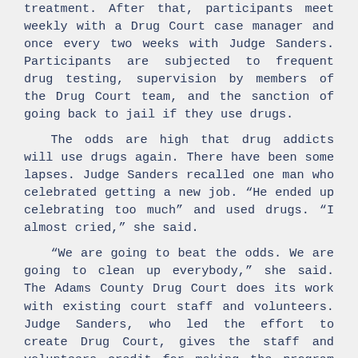treatment. After that, participants meet weekly with a Drug Court case manager and once every two weeks with Judge Sanders. Participants are subjected to frequent drug testing, supervision by members of the Drug Court team, and the sanction of going back to jail if they use drugs.
The odds are high that drug addicts will use drugs again. There have been some lapses. Judge Sanders recalled one man who celebrated getting a new job. “He ended up celebrating too much” and used drugs. “I almost cried,” she said.
“We are going to beat the odds. We are going to clean up everybody,” she said. The Adams County Drug Court does its work with existing court staff and volunteers. Judge Sanders, who led the effort to create Drug Court, gives the staff and volunteers credit for making the program work.
“It’s our Drug Court. We are a team. It belongs to all of us,” she said.
For more information about drug court programs in Mississippi, go to the web site of the Mississippi Supreme Court at www.mssc.state.ms.us and click on AOC.